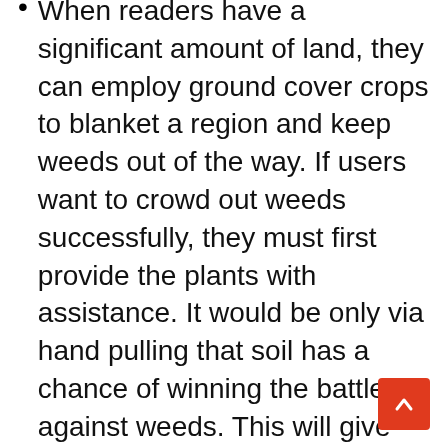When readers have a significant amount of land, they can employ ground cover crops to blanket a region and keep weeds out of the way. If users want to crowd out weeds successfully, they must first provide the plants with assistance. It would be only via hand pulling that soil has a chance of winning the battle against weeds. This will give them enough time to gain an advantage.
Beheading to Avoid Going to Seed — This may be an effective management method, mainly when dealing with dandelions. It will be more problematic the longer they